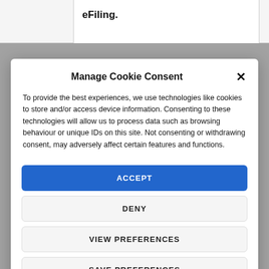eFiling.
Manage Cookie Consent
To provide the best experiences, we use technologies like cookies to store and/or access device information. Consenting to these technologies will allow us to process data such as browsing behaviour or unique IDs on this site. Not consenting or withdrawing consent, may adversely affect certain features and functions.
ACCEPT
DENY
VIEW PREFERENCES
SAVE PREFERENCES